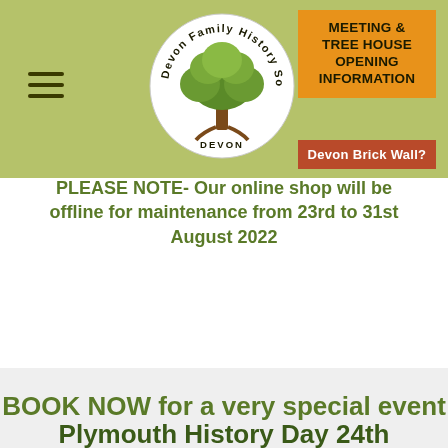[Figure (logo): Devon Family History Society circular logo with a tree illustration in the center]
MEETING & TREE HOUSE OPENING INFORMATION
Devon Brick Wall?
PLEASE NOTE- Our online shop will be offline for maintenance from 23rd to 31st August 2022
BOOK NOW for a very special event
Plymouth History Day 24th